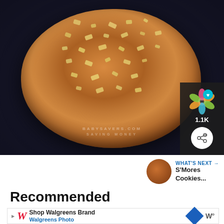[Figure (photo): Close-up photo of a large oatmeal walnut cookie with chunky nut toppings on a dark baking sheet, with a babysavers.com watermark and a colorful snowflake/share overlay in the bottom-right showing 1.1K likes and a share button]
WHAT'S NEXT → S'Mores Cookies...
Recommended
Shop Walgreens Brand
Walgreens Photo